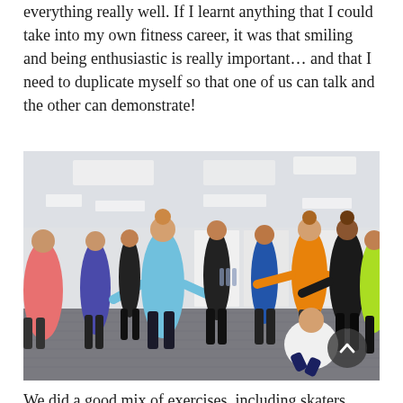everything really well. If I learnt anything that I could take into my own fitness career, it was that smiling and being enthusiastic is really important… and that I need to duplicate myself so that one of us can talk and the other can demonstrate!
[Figure (photo): Group fitness class in a modern indoor room with carpeted floor and white walls. Multiple participants in workout attire performing exercises, with one instructor in orange and another in yellow-green. The room has overhead fluorescent lighting.]
We did a good mix of exercises, including skaters, squats, jump